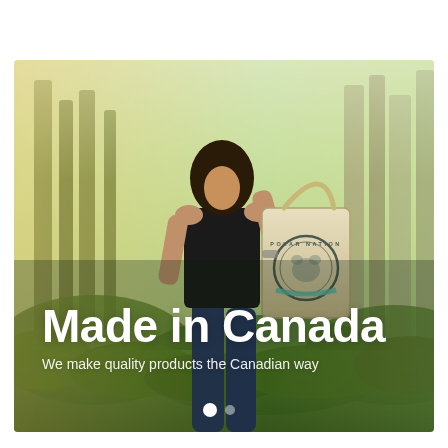[Figure (photo): A woman standing in a green forest, holding a canvas tote bag with a 'Polar Nation' bear logo. She is wearing a black top and blue jeans. The background shows trees and lush green foliage with soft warm light.]
Made in Canada
We make quality products the Canadian way